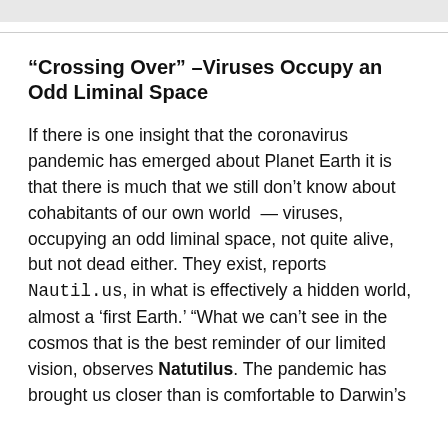“Crossing Over” –Viruses Occupy an Odd Liminal Space
If there is one insight that the coronavirus pandemic has emerged about Planet Earth it is that there is much that we still don’t know about cohabitants of our own world  — viruses, occupying an odd liminal space, not quite alive, but not dead either. They exist, reports Nautil.us, in what is effectively a hidden world, almost a ‘first Earth.’ “What we can’t see in the cosmos that is the best reminder of our limited vision, observes Natutilus. The pandemic has brought us closer than is comfortable to Darwin’s